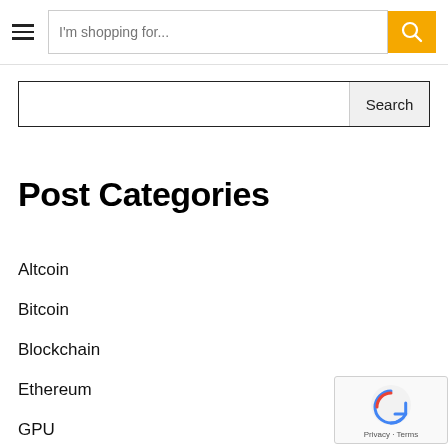[Figure (screenshot): Top navigation bar with hamburger menu icon, search input box with placeholder 'I'm shopping for...', and yellow search button with magnifying glass icon]
[Figure (screenshot): Secondary search bar with empty text input and 'Search' button]
Post Categories
Altcoin
Bitcoin
Blockchain
Ethereum
GPU
Mining Guide